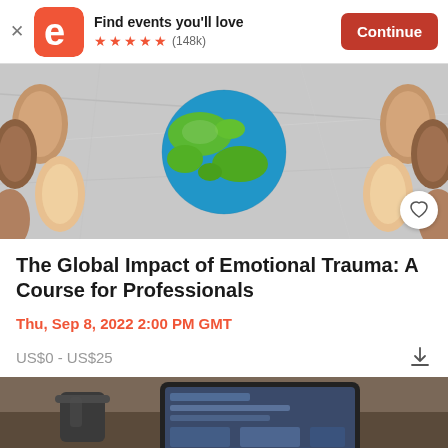[Figure (screenshot): Eventbrite app banner: logo, 'Find events you'll love', 5 stars (148k), Continue button]
[Figure (photo): Hero image of a globe made of colored paper on crumpled silver foil, surrounded by paper cutout heads in various skin tones]
The Global Impact of Emotional Trauma: A Course for Professionals
Thu, Sep 8, 2022 2:00 PM GMT
US$0 - US$25
[Figure (photo): Partial bottom image showing a desk scene with a coffee cup and tablet/laptop]